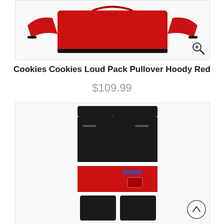[Figure (photo): Red pullover hoodie/sweatshirt product photo on white background with zoom icon]
Cookies Cookies Loud Pack Pullover Hoody Red
$109.99
[Figure (photo): Black and red jogger sweatpants with white stripe accent and red drawstring, product photo on white background]